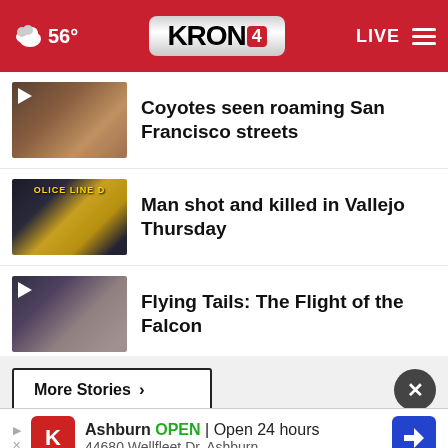56° KRON4 LIVE
Coyotes seen roaming San Francisco streets
Man shot and killed in Vallejo Thursday
Flying Tails: The Flight of the Falcon
Homelessness increasing in SF Latino community
More Stories ›
Ashburn OPEN | Open 24 hours 44680 Wellfleet Dr, Ashburn